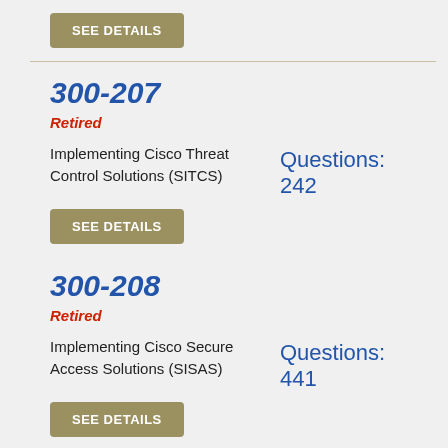SEE DETAILS
300-207
Retired
Implementing Cisco Threat Control Solutions (SITCS)
Questions: 242
SEE DETAILS
300-208
Retired
Implementing Cisco Secure Access Solutions (SISAS)
Questions: 441
SEE DETAILS
300-209